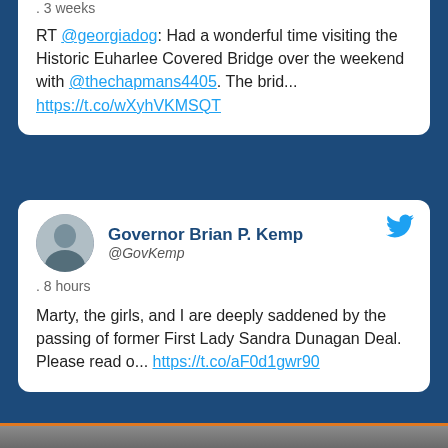. 3 weeks
RT @georgiadog: Had a wonderful time visiting the Historic Euharlee Covered Bridge over the weekend with @thechapmans4405. The brid... https://t.co/wXyhVKMSQT
Governor Brian P. Kemp @GovKemp
. 8 hours
Marty, the girls, and I are deeply saddened by the passing of former First Lady Sandra Dunagan Deal. Please read o... https://t.co/aF0d1gwr90